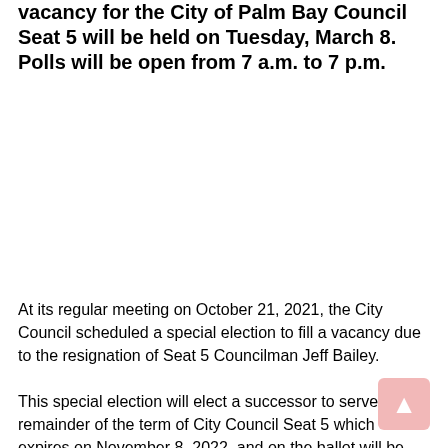vacancy for the City of Palm Bay Council Seat 5 will be held on Tuesday, March 8. Polls will be open from 7 a.m. to 7 p.m.
At its regular meeting on October 21, 2021, the City Council scheduled a special election to fill a vacancy due to the resignation of Seat 5 Councilman Jeff Bailey.
This special election will elect a successor to serve the remainder of the term of City Council Seat 5 which expires on November 8, 2022, and on the ballot will be Alfy Ramsey Agarie,